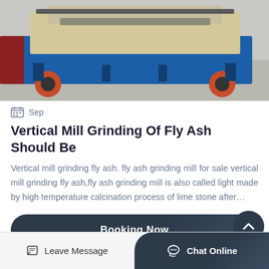[Figure (photo): Industrial vertical mill / grinding machine on a blue wheeled cart, photographed in a warehouse or factory floor. The machine has a beige/cream colored body with mechanical components visible on top.]
Sep
Vertical Mill Grinding Of Fly Ash Should Be
Vertical mill grinding fly ash. fly ash grinding mill for sale vertical mill grinding fly ash,fly ash grinding mill is also called light made by high temperature calcination process of lime stone after…
Booking Now
Leave Message   Chat Online